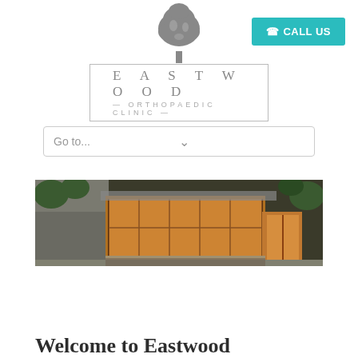[Figure (logo): Eastwood Orthopaedic Clinic logo with grey tree icon above the text 'EASTWOOD' in spaced capitals and 'ORTHOPAEDIC CLINIC' underneath, inside a rectangular border]
☎ CALL US
Go to...
[Figure (photo): Exterior photograph of a clinic building showing a modern brick and glass facade with warm interior lighting, surrounded by trees]
Welcome to Eastwood